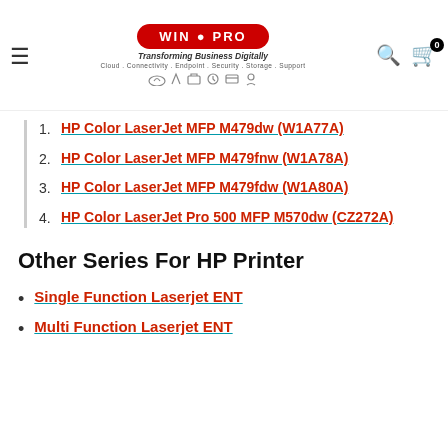[Figure (logo): WIN PRO logo with red oval, tagline 'Transforming Business Digitally', subtitle 'Cloud . Connectivity . Endpoint . Security . Storage . Support', and small service icons]
1. HP Color LaserJet MFP M479dw (W1A77A)
2. HP Color LaserJet MFP M479fnw (W1A78A)
3. HP Color LaserJet MFP M479fdw (W1A80A)
4. HP Color LaserJet Pro 500 MFP M570dw (CZ272A)
Other Series For HP Printer
Single Function Laserjet ENT
Multi Function Laserjet ENT